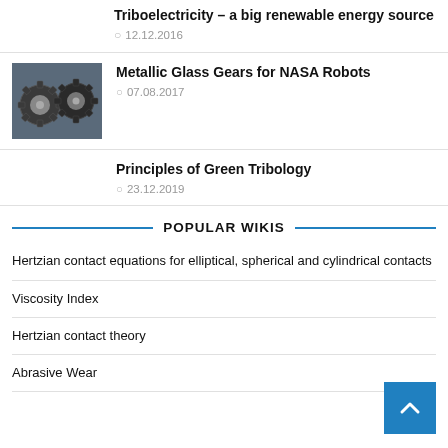Triboelectricity – a big renewable energy source
12.12.2016
[Figure (photo): Two metallic bevel gears close-up photograph]
Metallic Glass Gears for NASA Robots
07.08.2017
Principles of Green Tribology
23.12.2019
POPULAR WIKIS
Hertzian contact equations for elliptical, spherical and cylindrical contacts
Viscosity Index
Hertzian contact theory
Abrasive Wear